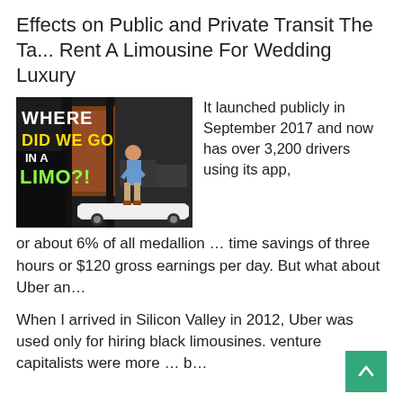Effects on Public and Private Transit The Ta... Rent A Limousine For Wedding Luxury
[Figure (photo): Photo showing a child entering a limousine with text overlay reading 'WHERE DID WE GO IN A LIMO?!' with a white stretch limo in the background]
It launched publicly in September 2017 and now has over 3,200 drivers using its app, or about 6% of all medallion … time savings of three hours or $120 gross earnings per day. But what about Uber an…
When I arrived in Silicon Valley in 2012, Uber was used only for hiring black limousines. venture capitalists were more … b…